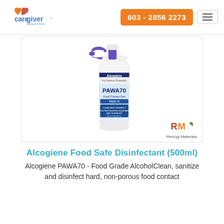Caregiver Malaysia — 603 - 2856 2273
[Figure (photo): Alcogiene PAWA70 Food Contact Use disinfectant spray bottle (500ml), white bottle with blue/purple spray trigger, dark blue label showing 'Alcogiene For Serious Protection PAWA70 Food Contact Use'. Revlogi Materials branding at bottom right.]
Alcogiene Food Safe Disinfectant (500ml)
Alcogiene PAWA70 - Food Grade AlcoholClean, sanitize and disinfect hard, non-porous food contact